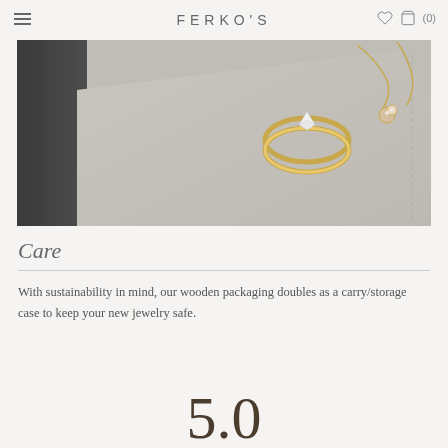FERKO'S
[Figure (photo): Close-up photo of a gray suede/velvet jewelry box with a gold diamond ring and a diamond pendant necklace resting on it]
Care
With sustainability in mind, our wooden packaging doubles as a carry/storage case to keep your new jewelry safe.
5.0